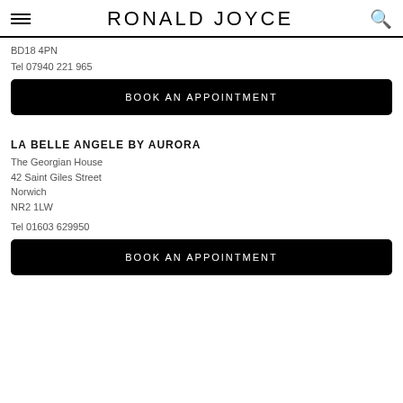RONALD JOYCE
BD18 4PN
Tel 07940 221 965
BOOK AN APPOINTMENT
LA BELLE ANGELE BY AURORA
The Georgian House
42 Saint Giles Street
Norwich
NR2 1LW
Tel 01603 629950
BOOK AN APPOINTMENT